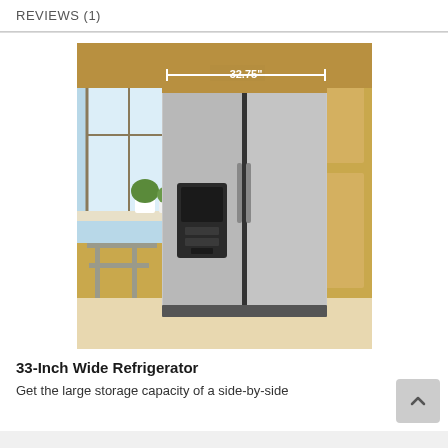REVIEWS (1)
[Figure (photo): A stainless steel side-by-side refrigerator with ice/water dispenser on the left freezer door, installed in a kitchen with yellow cabinetry, a window with plants on the windowsill, and a chair visible. A white measurement line across the top reads '32.75"'.]
33-Inch Wide Refrigerator
Get the large storage capacity of a side-by-side